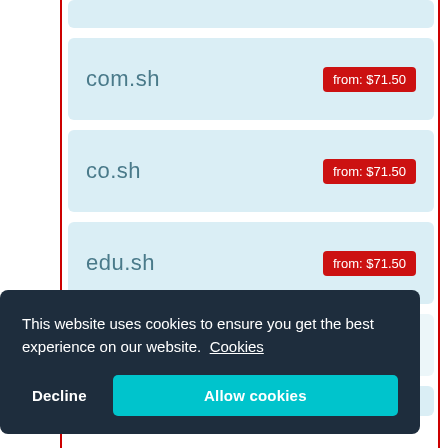com.sh — from: $71.50
co.sh — from: $71.50
edu.sh — from: $71.50
This website uses cookies to ensure you get the best experience on our website. Cookies
Decline  Allow cookies